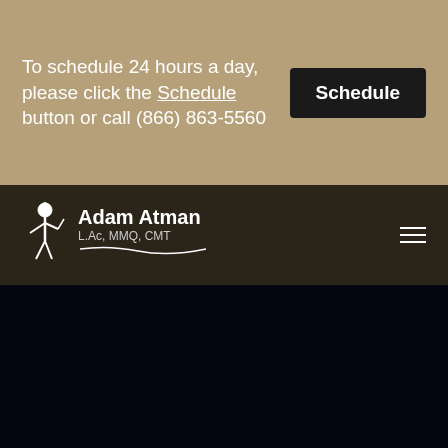To schedule 24 hours a day, please click the Schedule button or call (866) 863-5560
Schedule
[Figure (logo): Adam Atman L.Ac, MMQ, CMT logo with stylized acupuncture figure and signature underline]
Gallbladder Organ and Channel